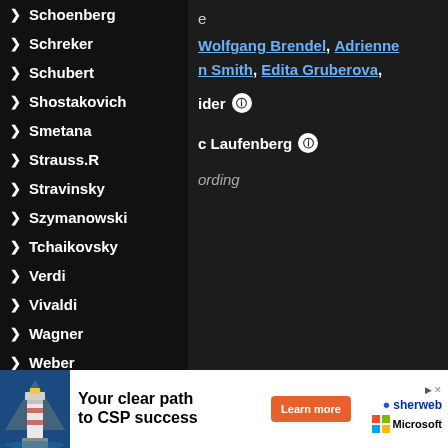Schoenberg
Schreker
Schubert
Shostakovich
Smetana
Strauss.R
Stravinsky
Szymanowski
Tchaikovsky
Verdi
Vivaldi
Wagner
Weber
e
Wolfgang Brendel, Adrienne
n Smith, Edita Gruberova,
ider
c Laufenberg
ording
[Figure (infographic): Advertisement banner: 'Your clear path to CSP success' with lighthouse image, Learn more button, Sherweb logo, Microsoft logo, and privacy/terms link.]